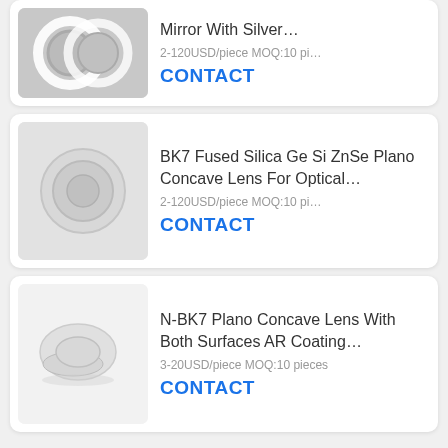[Figure (photo): Partial product card showing optical rings/lens component, partially cropped at top]
Mirror With Silver…
2-120USD/piece MOQ:10 pi…
CONTACT
[Figure (photo): White plano concave lens on grey background]
BK7 Fused Silica Ge Si ZnSe Plano Concave Lens For Optical…
2-120USD/piece MOQ:10 pi…
CONTACT
[Figure (photo): White plano concave lens on white background]
N-BK7 Plano Concave Lens With Both Surfaces AR Coating…
3-20USD/piece MOQ:10 pieces
CONTACT